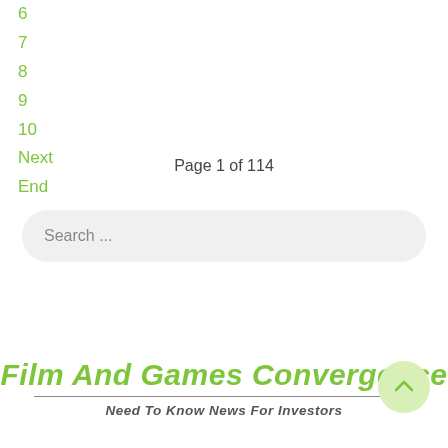6
7
8
9
10
Next
End
Page 1 of 114
Search ...
Film and Games Convergence
Need to Know News for Investors